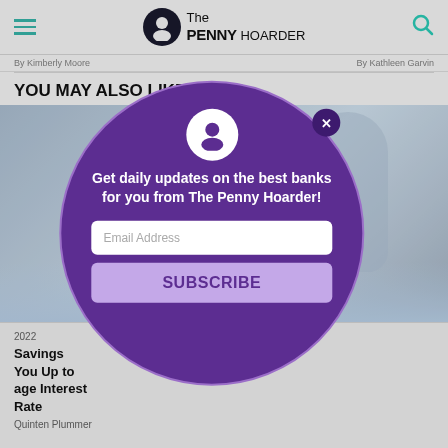The PENNY HOARDER
By Kimberly Moore   By Kathleen Garvin
YOU MAY ALSO LIKE
[Figure (screenshot): Website screenshot showing The Penny Hoarder page with a purple circular modal popup for email subscription. Modal contains avatar icon, close button (X), tagline 'Get daily updates on the best banks for you from The Penny Hoarder!', email address input field, and SUBSCRIBE button.]
2022
Savings You Up to age Interest Rate
Quinten Plummer